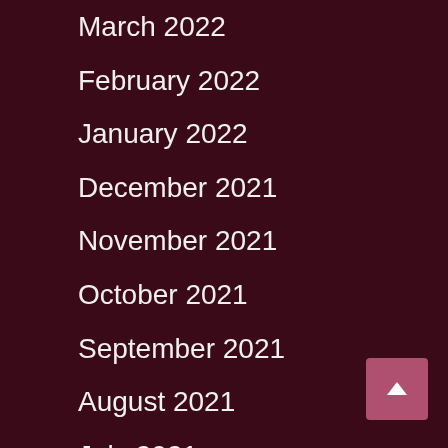March 2022
February 2022
January 2022
December 2021
November 2021
October 2021
September 2021
August 2021
July 2021
June 2021
May 2021